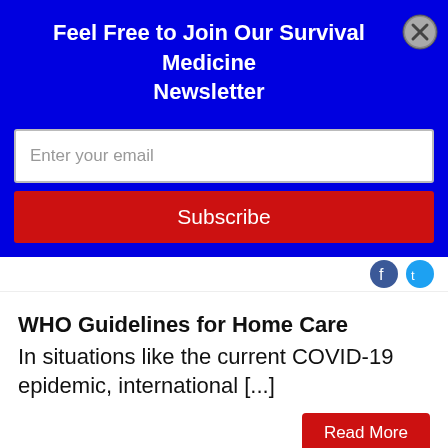Feel Free to Join Our Survival Medicine Newsletter
Enter your email
Subscribe
WHO Guidelines for Home Care In situations like the current COVID-19 epidemic, international [...]
Read More
Home Care for COVID-19 Patients: WHO Guidance